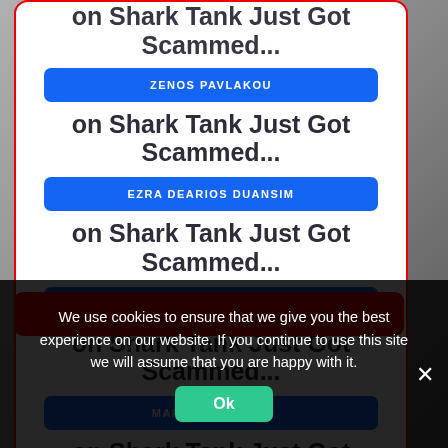on Shark Tank Just Got Scammed...
ZENOS PAVLAKOU
on Shark Tank Just Got Scammed...
EZRA DEARIOS DUANSIM
on Shark Tank Just Got Scammed...
TRAVIS
on Shark Tank Just Got Scammed...
MARCEL MOREAU
on Shark Tank Just Got Scammed...
We use cookies to ensure that we give you the best experience on our website. If you continue to use this site we will assume that you are happy with it.
Ok